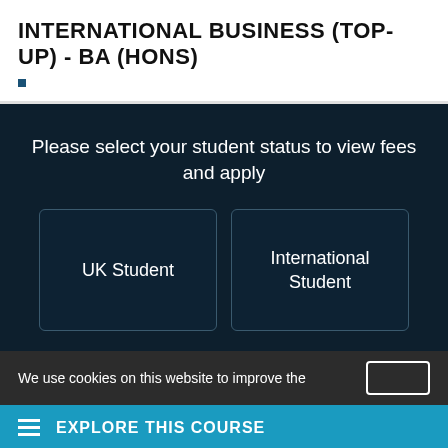INTERNATIONAL BUSINESS (TOP-UP) - BA (HONS)
Please select your student status to view fees and apply
UK Student
International Student
We use cookies on this website to improve the
EXPLORE THIS COURSE
manage your settings.